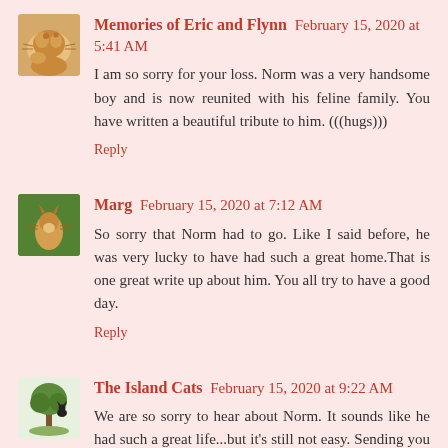[Figure (photo): Small avatar image of a cat (orange/tabby) curled up]
Memories of Eric and Flynn February 15, 2020 at 5:41 AM
I am so sorry for your loss. Norm was a very handsome boy and is now reunited with his feline family. You have written a beautiful tribute to him. (((hugs)))
Reply
[Figure (photo): Small avatar image of a cat (orange tabby) sitting outdoors]
Marg February 15, 2020 at 7:12 AM
So sorry that Norm had to go. Like I said before, he was very lucky to have had such a great home.That is one great write up about him. You all try to have a good day.
Reply
[Figure (illustration): Small avatar image with a tree and cat silhouette illustration]
The Island Cats February 15, 2020 at 9:22 AM
We are so sorry to hear about Norm. It sounds like he had such a great life...but it's still not easy. Sending you comforting purrs, gentle headbutts and big hugs. ox
Reply